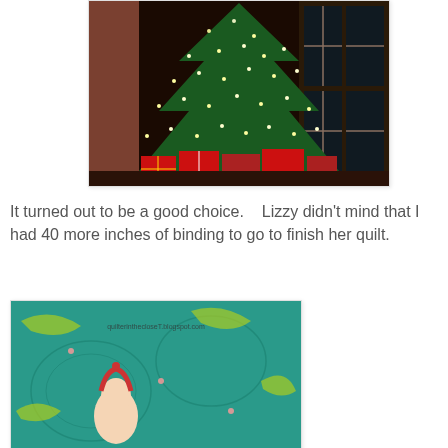[Figure (photo): A Christmas tree decorated with white lights and surrounded by wrapped presents in red and patterned wrapping paper, photographed indoors at night with French doors visible in the background.]
It turned out to be a good choice.    Lizzy didn't mind that I had 40 more inches of binding to go to finish her quilt.
[Figure (photo): Close-up of a teal/turquoise quilt with a Dr. Seuss-style character (Cindy Lou Who) printed on the fabric, showing quilting stitches. Watermark reads: quilterinthecloseT.blogspot.com]